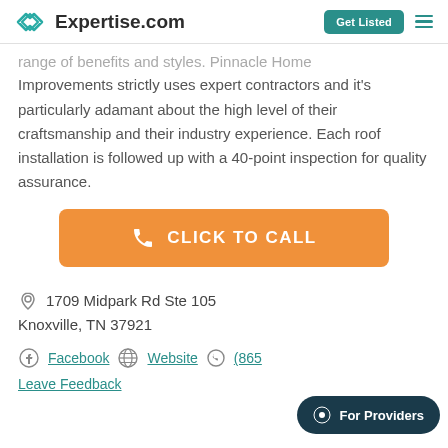Expertise.com | Get Listed
range of benefits and styles. Pinnacle Home Improvements strictly uses expert contractors and it's particularly adamant about the high level of their craftsmanship and their industry experience. Each roof installation is followed up with a 40-point inspection for quality assurance.
[Figure (other): Orange 'CLICK TO CALL' button with phone icon]
1709 Midpark Rd Ste 105
Knoxville, TN 37921
Facebook  Website  (865...  Leave Feedback